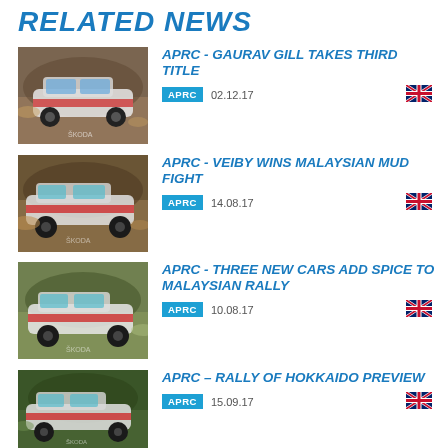RELATED NEWS
APRC - GAURAV GILL TAKES THIRD TITLE
APRC  02.12.17
APRC - VEIBY WINS MALAYSIAN MUD FIGHT
APRC  14.08.17
APRC - THREE NEW CARS ADD SPICE TO MALAYSIAN RALLY
APRC  10.08.17
APRC – RALLY OF HOKKAIDO PREVIEW
APRC  15.09.17